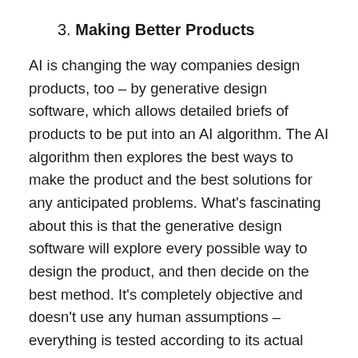3. Making Better Products
AI is changing the way companies design products, too – by generative design software, which allows detailed briefs of products to be put into an AI algorithm. The AI algorithm then explores the best ways to make the product and the best solutions for any anticipated problems. What's fascinating about this is that the generative design software will explore every possible way to design the product, and then decide on the best method. It's completely objective and doesn't use any human assumptions – everything is tested according to its actual performance!
4. Adapting to the Market